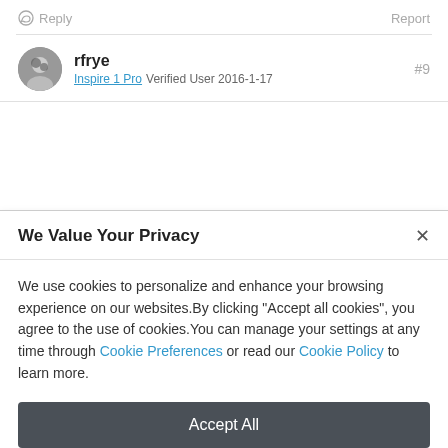Reply
Report
rfrye
Inspire 1 Pro Verified User 2016-1-17
#9
We Value Your Privacy
We use cookies to personalize and enhance your browsing experience on our websites.By clicking "Accept all cookies", you agree to the use of cookies.You can manage your settings at any time through Cookie Preferences or read our Cookie Policy to learn more.
Accept All
Cookie Preferences